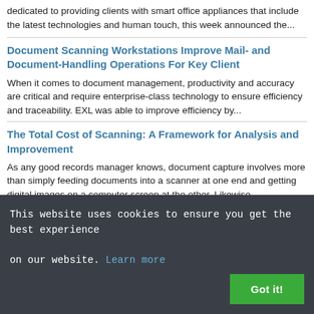dedicated to providing clients with smart office appliances that include the latest technologies and human touch, this week announced the...
Document Scanning Workstations Improve Mail- and Document-Handling Operations For Key Client
When it comes to document management, productivity and accuracy are critical and require enterprise-class technology to ensure efficiency and traceability. EXL was able to improve efficiency by...
The Total Cost of Scanning: A Framework for Analysis and Improvement
As any good records manager knows, document capture involves more than simply feeding documents into a scanner at one end and getting digital images on a computer screen at the other. Likewise,...
This website uses cookies to ensure you get the best experience on our website. Learn more Got it!